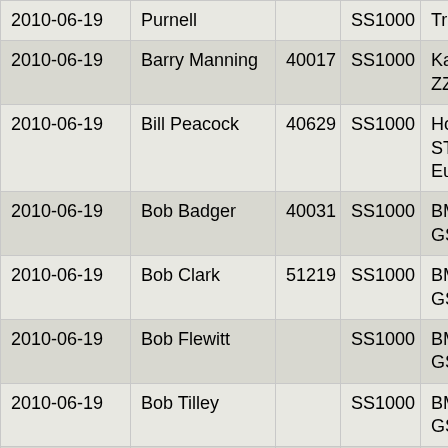| Date | Name | ID | Class | Bike |
| --- | --- | --- | --- | --- |
| 2010-06-19 | Purnell |  | SS1000 | Triumph T... |
| 2010-06-19 | Barry Manning | 40017 | SS1000 | Kawasaki ZZR1400 |
| 2010-06-19 | Bill Peacock | 40629 | SS1000 | Honda ST1300 Pa European |
| 2010-06-19 | Bob Badger | 40031 | SS1000 | BMW R120 GS |
| 2010-06-19 | Bob Clark | 51219 | SS1000 | BMW R120 GS Advent |
| 2010-06-19 | Bob Flewitt |  | SS1000 | BMW R120 GS |
| 2010-06-19 | Bob Tilley |  | SS1000 | BMW R120 GS |
| 2010-06-19 | Brian Atkinson | 51113 | SS1000 | Honda ST1300 Pa European |
| 2010-06-19 | Brian Harris | 51110 | SS1000 | BMW R120 GS Advent |
| 2010-06-19 | Brian Watts |  | SS1000 | Suzuki DL6 V-Strom |
| 2010-06-19 | Brian Wood | 51131 | SS1000 | BMW R120... |